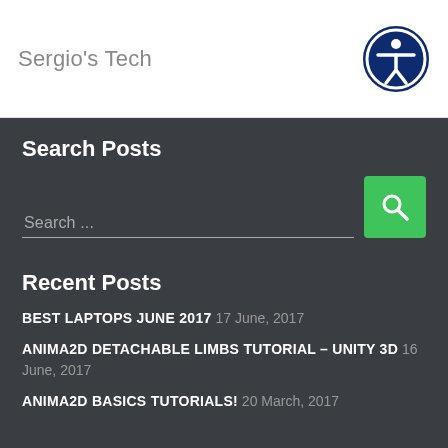Sergio's Tech
Search Posts
Search ...
Recent Posts
BEST LAPTOPS JUNE 2017 17 June, 2017
ANIMA2D DETACHABLE LIMBS TUTORIAL – UNITY 3D 16 June, 2017
ANIMA2D BASICS TUTORIALS! 20 March, 2017